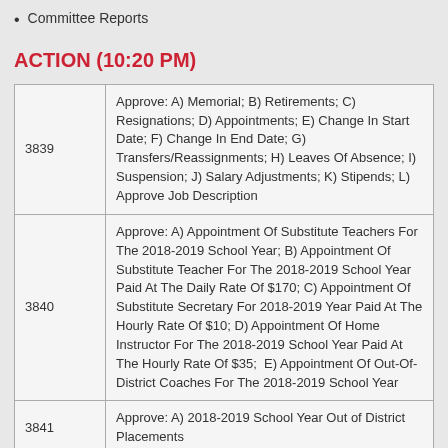Committee Reports
ACTION (10:20 PM)
|  |  |
| --- | --- |
| 3839 | Approve: A) Memorial; B) Retirements; C) Resignations; D) Appointments; E) Change In Start Date; F) Change In End Date; G) Transfers/Reassignments; H) Leaves Of Absence; I) Suspension; J) Salary Adjustments; K) Stipends; L) Approve Job Description |
| 3840 | Approve: A) Appointment Of Substitute Teachers For The 2018-2019 School Year; B) Appointment Of Substitute Teacher For The 2018-2019 School Year Paid At The Daily Rate Of $170; C) Appointment Of Substitute Secretary For 2018-2019 Year Paid At The Hourly Rate Of $10; D) Appointment Of Home Instructor For The 2018-2019 School Year Paid At The Hourly Rate Of $35;  E) Appointment Of Out-Of-District Coaches For The 2018-2019 School Year |
| 3841 | Approve: A) 2018-2019 School Year Out of District Placements |